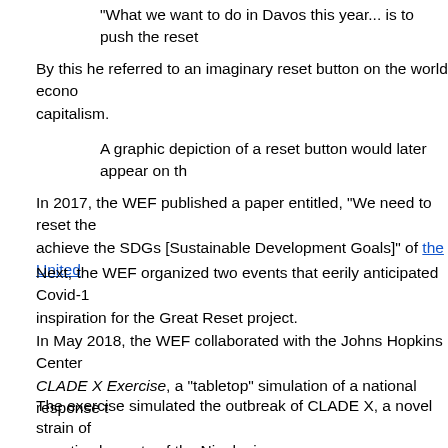"What we want to do in Davos this year... is to push the reset
By this he referred to an imaginary reset button on the world econo capitalism.
A graphic depiction of a reset button would later appear on th
In 2017, the WEF published a paper entitled, "We need to reset the achieve the SDGs [Sustainable Development Goals]" of the United
Next, the WEF organized two events that eerily anticipated Covid-1 inspiration for the Great Reset project.
In May 2018, the WEF collaborated with the Johns Hopkins Center CLADE X Exercise, a "tabletop" simulation of a national response t
The exercise simulated the outbreak of CLADE X, a novel strain of genetic elements of the Nipah virus.
According to Homeland Preparedness News, the CLADE X simulat
"[t]he lack of both a protective vaccine and a proactive worldw spread of a catastrophic global 'pandemic' resulted in the dea across the Earth." 13
Clearly, preparation for a global 'pandemic' was in order.